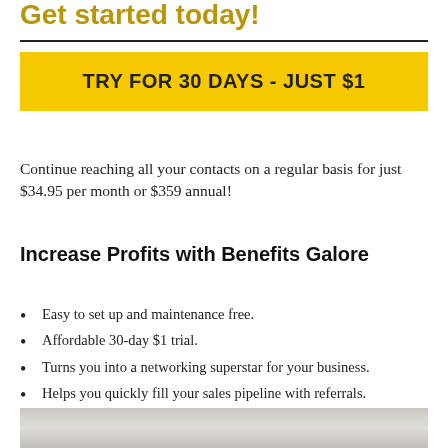Get started today!
TRY FOR 30 DAYS - JUST $1
Continue reaching all your contacts on a regular basis for just $34.95 per month or $359 annual!
Increase Profits with Benefits Galore
Easy to set up and maintenance free.
Affordable 30-day $1 trial.
Turns you into a networking superstar for your business.
Helps you quickly fill your sales pipeline with referrals.
Keeps you top of mind – with NO work on your part!
[Figure (photo): Partial photo strip at the bottom of the page]